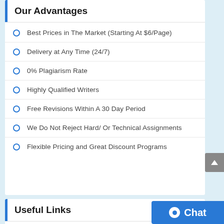Our Advantages
Best Prices in The Market (Starting At $6/Page)
Delivery at Any Time (24/7)
0% Plagiarism Rate
Highly Qualified Writers
Free Revisions Within A 30 Day Period
We Do Not Reject Hard/ Or Technical Assignments
Flexible Pricing and Great Discount Programs
Useful Links
Home